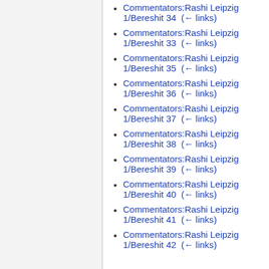Commentators:Rashi Leipzig 1/Bereshit 34  (← links)
Commentators:Rashi Leipzig 1/Bereshit 33  (← links)
Commentators:Rashi Leipzig 1/Bereshit 35  (← links)
Commentators:Rashi Leipzig 1/Bereshit 36  (← links)
Commentators:Rashi Leipzig 1/Bereshit 37  (← links)
Commentators:Rashi Leipzig 1/Bereshit 38  (← links)
Commentators:Rashi Leipzig 1/Bereshit 39  (← links)
Commentators:Rashi Leipzig 1/Bereshit 40  (← links)
Commentators:Rashi Leipzig 1/Bereshit 41  (← links)
Commentators:Rashi Leipzig 1/Bereshit 42  (← links)